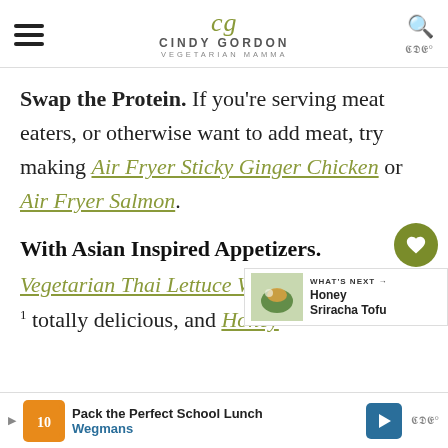cg CINDY GORDON VEGETARIAN MAMMA
Swap the Protein. If you're serving meat eaters, or otherwise want to add meat, try making Air Fryer Sticky Ginger Chicken or Air Fryer Salmon.
With Asian Inspired Appetizers.
Vegetarian Thai Lettuce Wra[ps are]
1 totally delicious, and Honey
[Figure (other): WHAT'S NEXT widget showing food image and text: Honey Sriracha Tofu]
Pack the Perfect School Lunch Wegmans advertisement bar